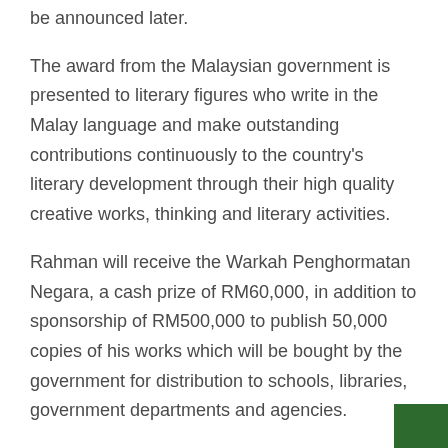be announced later.
The award from the Malaysian government is presented to literary figures who write in the Malay language and make outstanding contributions continuously to the country's literary development through their high quality creative works, thinking and literary activities.
Rahman will receive the Warkah Penghormatan Negara, a cash prize of RM60,000, in addition to sponsorship of RM500,000 to publish 50,000 copies of his works which will be bought by the government for distribution to schools, libraries, government departments and agencies.
He will also receive a living allowance of RM5,000 per month and be entitled to free medical service in the first-class ward in any government hospital as well as facilities to write and publish literary works as well as translate